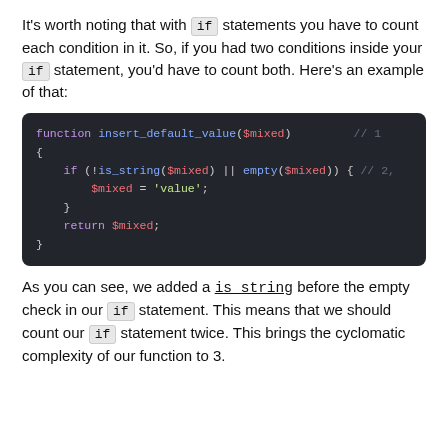It's worth noting that with if statements you have to count each condition in it. So, if you had two conditions inside your if statement, you'd have to count both. Here's an example of that:
[Figure (screenshot): Code block showing PHP function insert_default_value with if statement checking is_string and empty]
As you can see, we added a is_string before the empty check in our if statement. This means that we should count our if statement twice. This brings the cyclomatic complexity of our function to 3.